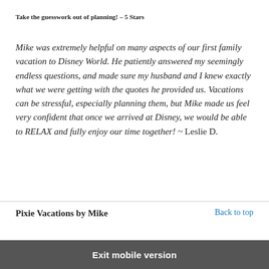Take the guesswork out of planning! – 5 Stars
Mike was extremely helpful on many aspects of our first family vacation to Disney World. He patiently answered my seemingly endless questions, and made sure my husband and I knew exactly what we were getting with the quotes he provided us. Vacations can be stressful, especially planning them, but Mike made us feel very confident that once we arrived at Disney, we would be able to RELAX and fully enjoy our time together! ~ Leslie D.
Pixie Vacations by Mike
Back to top
Exit mobile version